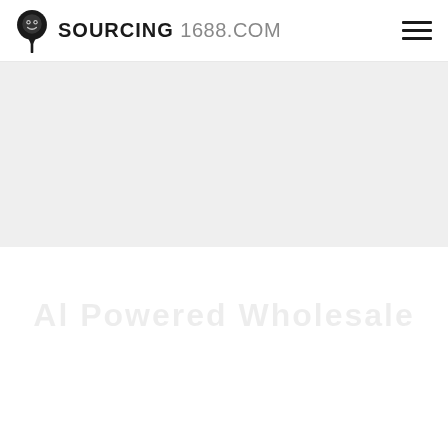SOURCING 1688.COM
[Figure (other): Gray banner/hero image placeholder area below the navigation header]
Al Powered Wholesale